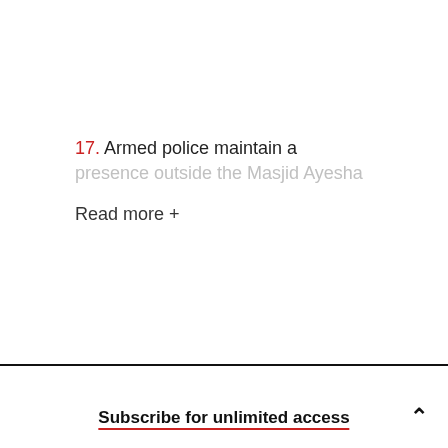17. Armed police maintain a presence outside the Masjid Ayesha
Read more +
Subscribe for unlimited access